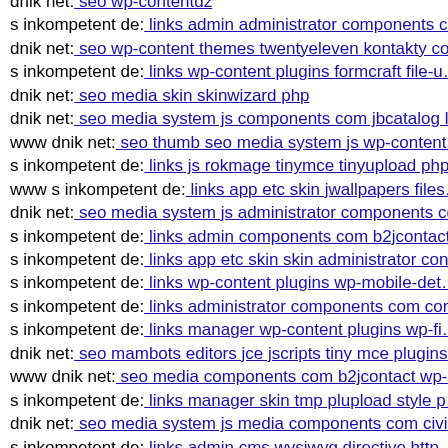dnik net: seo wp-contentdz
s inkompetent de: links admin administrator components c…
dnik net: seo wp-content themes twentyeleven kontakty co…
s inkompetent de: links wp-content plugins formcraft file-u…
dnik net: seo media skin skinwizard php
dnik net: seo media system js components com jbcatalog li…
www dnik net: seo thumb seo media system js wp-content…
s inkompetent de: links js rokmage tinymce tinyupload php…
www s inkompetent de: links app etc skin jwallpapers files…
dnik net: seo media system js administrator components co…
s inkompetent de: links admin components com b2jcontact…
s inkompetent de: links app etc skin skin administrator con…
s inkompetent de: links wp-content plugins wp-mobile-det…
s inkompetent de: links administrator components com com…
s inkompetent de: links manager wp-content plugins wp-fi…
dnik net: seo mambots editors jce jscripts tiny mce plugins…
www dnik net: seo media components com b2jcontact wp-…
s inkompetent de: links manager skin tmp plupload style p…
dnik net: seo media system js media components com civic…
s inkompetent de: links admin cms wysiwyg directive http…